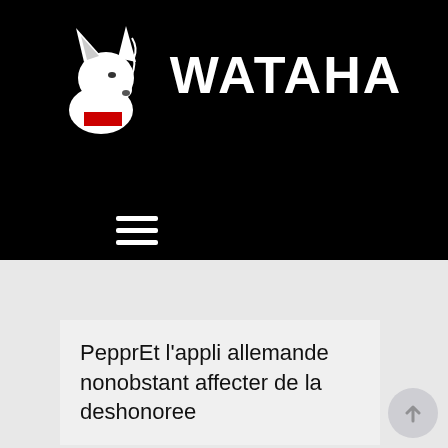[Figure (logo): Wataha logo: white wolf head with Polish flag (white over red) and bold white text WATAHA on black background]
[Figure (other): Hamburger menu icon (three white horizontal lines) on black background]
PepprEt l’appli allemande nonobstant affecter de la deshonoree